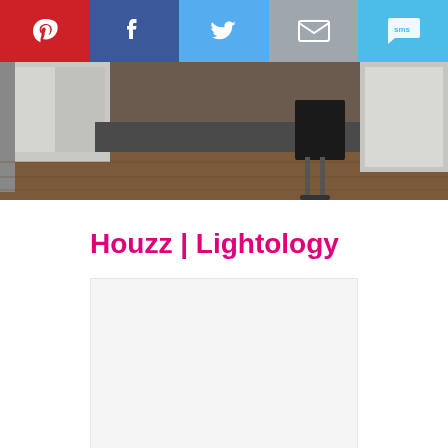[Figure (screenshot): Social media sharing bar with Pinterest (red), Facebook (dark blue), Twitter (light blue), Email (grey), and SMS (light blue) buttons with icons]
[Figure (photo): Kitchen interior photo showing white cabinets, a dark bar stool, hardwood floors, and stainless steel appliances]
Houzz | Lightology
[Figure (screenshot): Empty white/light grey content area placeholder]
[Figure (other): Three grey navigation dots/indicators at the bottom]